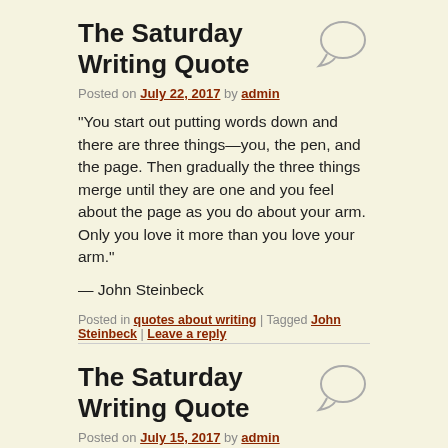The Saturday Writing Quote
Posted on July 22, 2017 by admin
“You start out putting words down and there are three things—you, the pen, and the page. Then gradually the three things merge until they are one and you feel about the page as you do about your arm. Only you love it more than you love your arm.”
— John Steinbeck
Posted in quotes about writing | Tagged John Steinbeck | Leave a reply
The Saturday Writing Quote
Posted on July 15, 2017 by admin
[Figure (photo): Partial photo visible at the bottom of the page]